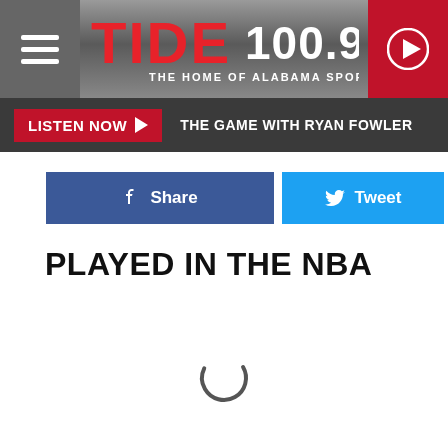TIDE 100.9 - THE HOME OF ALABAMA SPORTS
LISTEN NOW ▶  THE GAME WITH RYAN FOWLER
Share
Tweet
PLAYED IN THE NBA
[Figure (other): Loading spinner (circular arc indicator)]